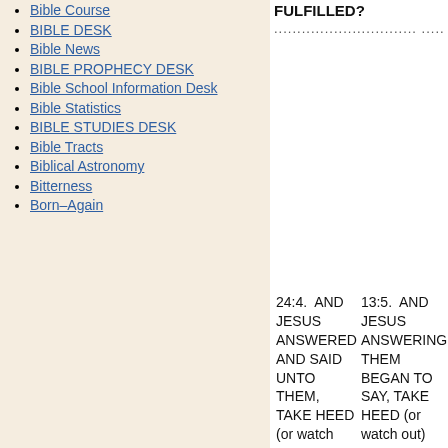Bible Course
BIBLE DESK
Bible News
BIBLE PROPHECY DESK
Bible School Information Desk
Bible Statistics
BIBLE STUDIES DESK
Bible Tracts
Biblical Astronomy
Bitterness
Born–Again
FULFILLED?
............................... ............................... .......
24:4. AND JESUS ANSWERED AND SAID UNTO THEM, TAKE HEED (or watch
13:5. AND JESUS ANSWERING THEM BEGAN TO SAY, TAKE HEED (or watch out)
21:8. SAID, HEED out) TH NOT D FOR M